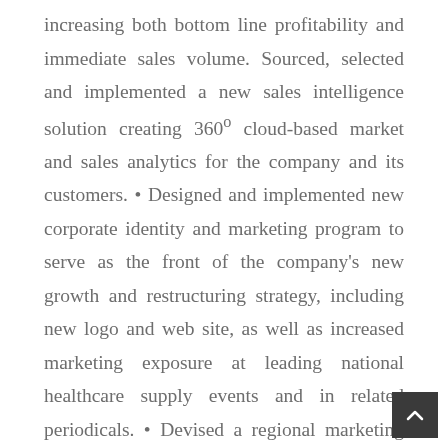increasing both bottom line profitability and immediate sales volume. Sourced, selected and implemented a new sales intelligence solution creating 360° cloud-based market and sales analytics for the company and its customers. • Designed and implemented new corporate identity and marketing program to serve as the front of the company's new growth and restructuring strategy, including new logo and web site, as well as increased marketing exposure at leading national healthcare supply events and in related periodicals. • Devised a regional marketing strategy and entered into strategic alliances with local/regional professional groups and associations to gain instant relevance, credibility and traction in new markets. • Led transition to the development and implementation of full e-commerce platform and married the company's ecommerce solution to an automated inventory control system. • Functioned as General